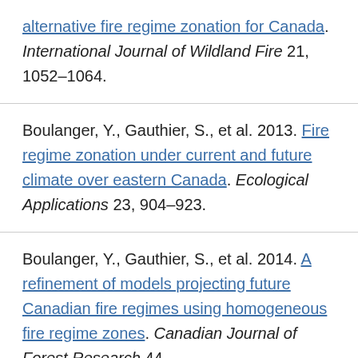alternative fire regime zonation for Canada. International Journal of Wildland Fire 21, 1052–1064.
Boulanger, Y., Gauthier, S., et al. 2013. Fire regime zonation under current and future climate over eastern Canada. Ecological Applications 23, 904–923.
Boulanger, Y., Gauthier, S., et al. 2014. A refinement of models projecting future Canadian fire regimes using homogeneous fire regime zones. Canadian Journal of Forest Research 44, 365–376.